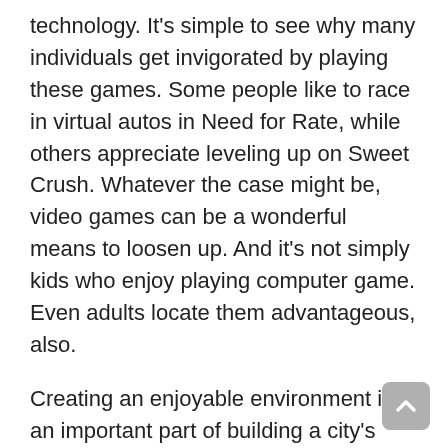technology. It's simple to see why many individuals get invigorated by playing these games. Some people like to race in virtual autos in Need for Rate, while others appreciate leveling up on Sweet Crush. Whatever the case might be, video games can be a wonderful means to loosen up. And it's not simply kids who enjoy playing computer game. Even adults locate them advantageous, also.
Creating an enjoyable environment is an important part of building a city's society. The Sydney Opera House is an UNESCO World Heritage Website, as well as the O2 in London is a home entertainment district with a movie theater and music clubs. And in Bayreuth, a theatre designed specifically for a single musical composition is a world-famous example. And there's no end to the diversity of amusement in the world today.